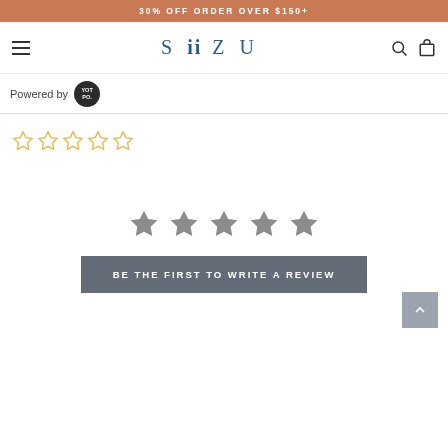30% OFF ORDER OVER $150+
[Figure (logo): SIIZU brand logo with navigation hamburger menu, search and cart icons]
Powered by YOTPO
[Figure (other): Five empty star rating (yellow outline stars, 0 out of 5)]
[Figure (other): Five filled grey stars for rating]
BE THE FIRST TO WRITE A REVIEW